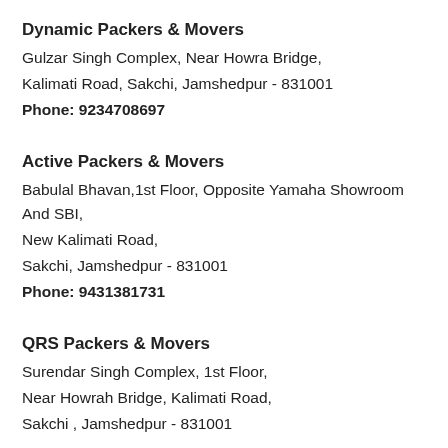Dynamic Packers & Movers
Gulzar Singh Complex, Near Howra Bridge,
Kalimati Road, Sakchi, Jamshedpur - 831001
Phone: 9234708697
Active Packers & Movers
Babulal Bhavan,1st Floor, Opposite Yamaha Showroom And SBI,
New Kalimati Road,
Sakchi, Jamshedpur - 831001
Phone: 9431381731
QRS Packers & Movers
Surendar Singh Complex, 1st Floor,
Near Howrah Bridge, Kalimati Road,
Sakchi , Jamshedpur - 831001